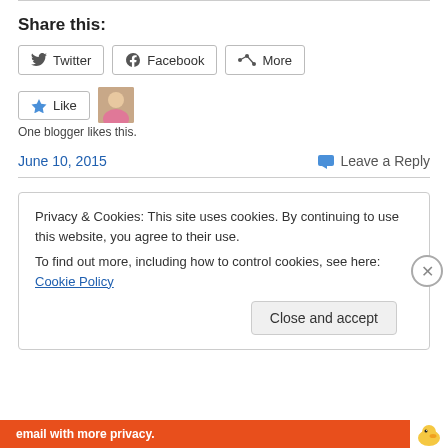Share this:
Twitter  Facebook  More
[Figure (other): Like button with star icon and blogger avatar thumbnail]
One blogger likes this.
June 10, 2015    Leave a Reply
Privacy & Cookies: This site uses cookies. By continuing to use this website, you agree to their use. To find out more, including how to control cookies, see here: Cookie Policy
Close and accept
email with more privacy.